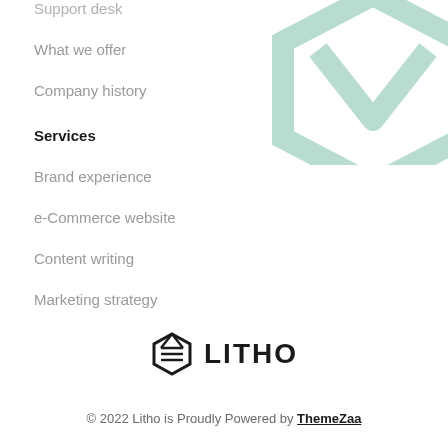Support desk
What we offer
Company history
Services
Brand experience
e-Commerce website
Content writing
Marketing strategy
[Figure (logo): Litho logo with hexagon icon and bold LITHO text]
© 2022 Litho is Proudly Powered by ThemeZaa